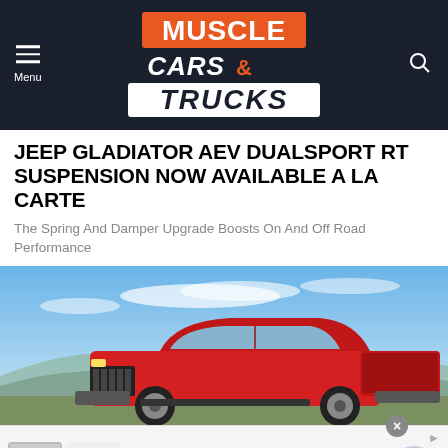MUSCLE CARS & TRUCKS
JEEP GLADIATOR AEV DUALSPORT RT SUSPENSION NOW AVAILABLE A LA CARTE
The Spring And Damper Upgrade Boosts On And Off Road Performance
[Figure (photo): Red Jeep Gladiator pickup truck photographed against a blue sky with clouds and rolling hills in the background]
BELK SHOP BY DEPARTMENT
sneakers, skechers & shoes fort the family
www.belk.com